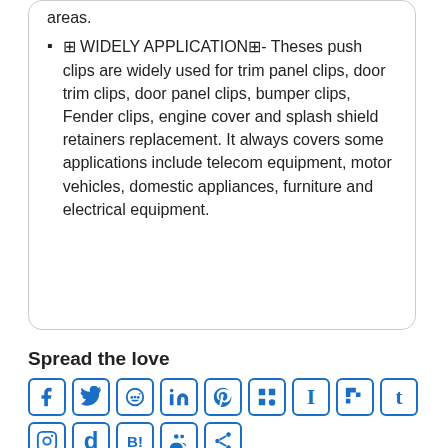areas.
⊠ WIDELY APPLICATION⊠- Theses push clips are widely used for trim panel clips, door trim clips, door panel clips, bumper clips, Fender clips, engine cover and splash shield retainers replacement. It always covers some applications include telecom equipment, motor vehicles, domestic appliances, furniture and electrical equipment.
Spread the love
[Figure (other): Row of social media share icon buttons: Facebook, Twitter, Reddit, LinkedIn, Pinterest, Mix, Instapaper, Flipboard, Tumblr, and a second row with Instagram, dailymotion, Hatena Bookmark, myspace, share icons — all in blue outlined square buttons.]